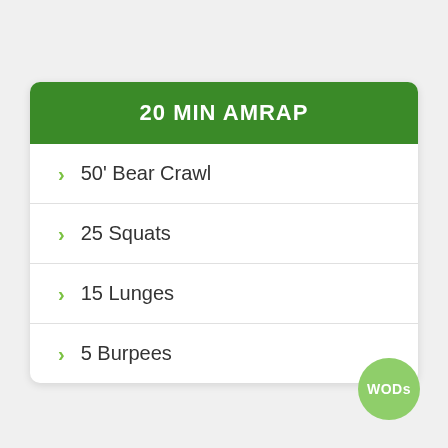20 MIN AMRAP
50' Bear Crawl
25 Squats
15 Lunges
5 Burpees
WODs